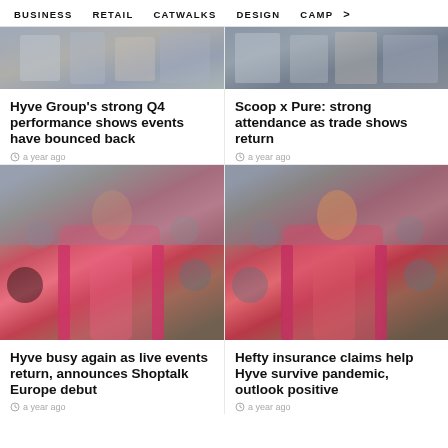BUSINESS   RETAIL   CATWALKS   DESIGN   CAMP >
[Figure (photo): Fashion crowd scene, top left article image]
Hyve Group's strong Q4 performance shows events have bounced back
a year ago
[Figure (photo): Fashion/trade show crowd scene, top right article image]
Scoop x Pure: strong attendance as trade shows return
a year ago
[Figure (photo): Model in colorful fur coat at fashion show, bottom left]
Hyve busy again as live events return, announces Shoptalk Europe debut
a year ago
[Figure (photo): Model in colorful fur coat at fashion show, bottom right]
Hefty insurance claims help Hyve survive pandemic, outlook positive
a year ago